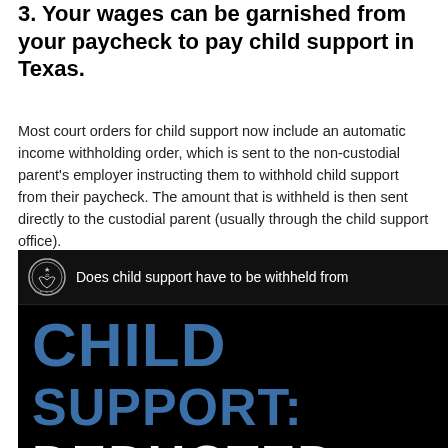3. Your wages can be garnished from your paycheck to pay child support in Texas.
Most court orders for child support now include an automatic income withholding order, which is sent to the non-custodial parent's employer instructing them to withhold child support from their paycheck. The amount that is withheld is then sent directly to the custodial parent (usually through the child support office).
[Figure (screenshot): YouTube video thumbnail showing text 'CHILD SUPPORT: DEDUCTED' in blue and white on black background, with a government seal icon and title 'Does child support have to be withheld from' and a YouTube play button in the lower right corner.]